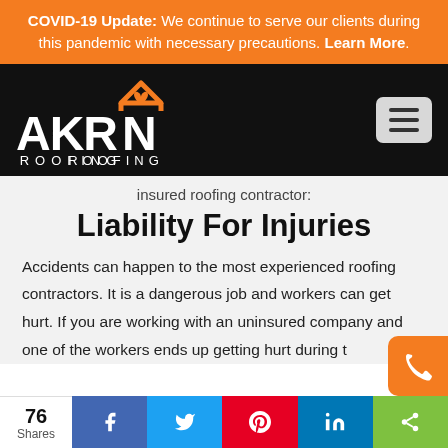COVID-19 Update: We continue to serve our clients during this pandemic with necessary precautions. Learn More.
[Figure (logo): Akron Roofing logo with orange roof/heart graphic on black background, hamburger menu icon on right]
insured roofing contractor:
Liability For Injuries
Accidents can happen to the most experienced roofing contractors. It is a dangerous job and workers can get hurt. If you are working with an uninsured company and one of the workers ends up getting hurt during t…
76 Shares | Facebook | Twitter | Pinterest | LinkedIn | Share